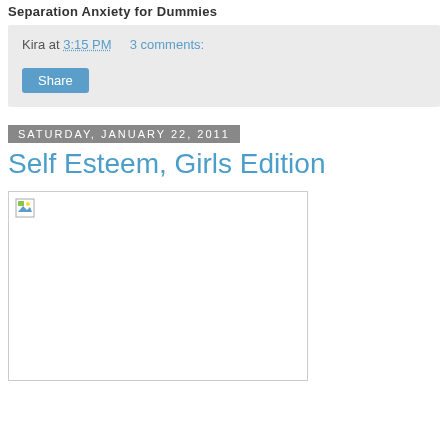Separation Anxiety for Dummies
Kira at 3:15 PM    3 comments:
Share
Saturday, January 22, 2011
Self Esteem, Girls Edition
[Figure (photo): Broken/missing image placeholder inside a bordered white box]